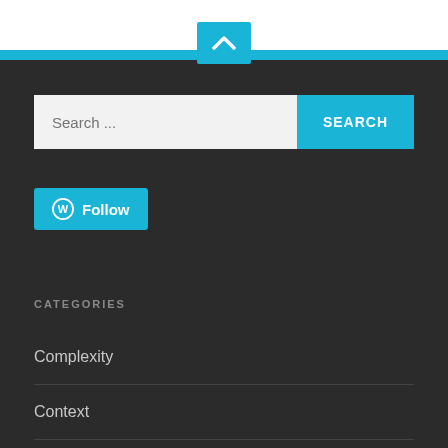[Figure (screenshot): Blue top bar with white chevron/up-arrow button centered at top]
Search ...
SEARCH
Follow
CATEGORIES
Complexity
Context
Ethical Decision Making